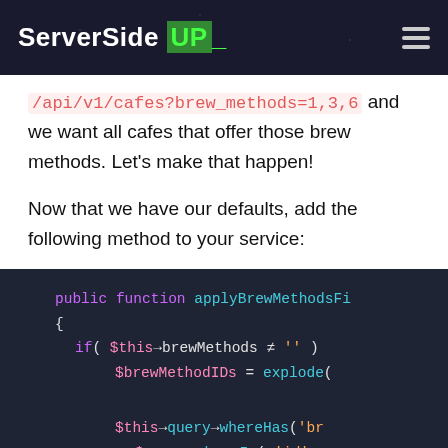ServerSide UP_
/api/v1/cafes?brew_methods=1,3,6 and we want all cafes that offer those brew methods. Let's make that happen!
Now that we have our defaults, add the following method to your service:
[Figure (screenshot): Code block showing PHP function applyBrewMethodsFi with dark background. Contains: public function applyBrewMethodsFi { if( $this->brewMethods != '' ) $brewMethodIDs = explode( $this->query->whereHas('br $query->whereIn( 'id',]